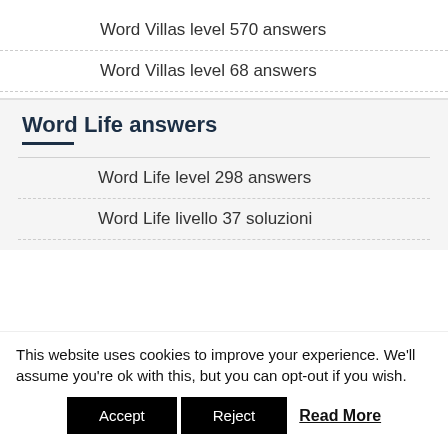Word Villas level 570 answers
Word Villas level 68 answers
Word Life answers
Word Life level 298 answers
Word Life livello 37 soluzioni
This website uses cookies to improve your experience. We'll assume you're ok with this, but you can opt-out if you wish.
Accept   Reject   Read More